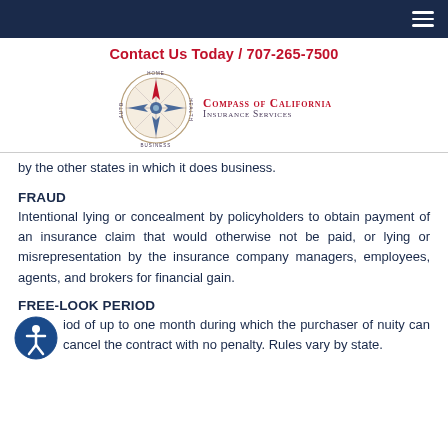Contact Us Today / 707-265-7500
[Figure (logo): Compass of California Insurance Services logo with compass rose graphic]
by the other states in which it does business.
FRAUD
Intentional lying or concealment by policyholders to obtain payment of an insurance claim that would otherwise not be paid, or lying or misrepresentation by the insurance company managers, employees, agents, and brokers for financial gain.
FREE-LOOK PERIOD
iod of up to one month during which the purchaser of nuity can cancel the contract with no penalty. Rules vary by state.